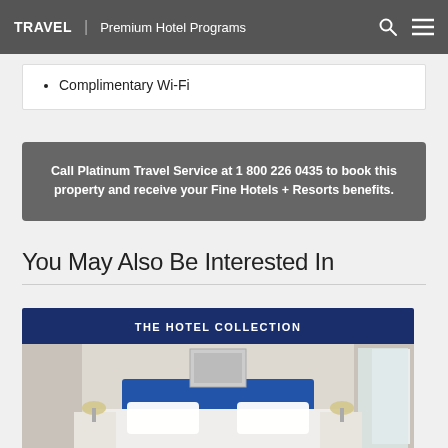TRAVEL | Premium Hotel Programs
Complimentary Wi-Fi
Call Platinum Travel Service at 1 800 226 0435 to book this property and receive your Fine Hotels + Resorts benefits.
You May Also Be Interested In
THE HOTEL COLLECTION
[Figure (photo): Hotel room interior with a blue headboard bed, white pillows, bedside tables with lamps, and bright windows in the background.]